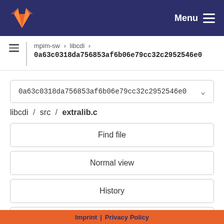GitLab — Menu
mpim-sw > libcdi > 0a63c0318da756853af6b06e79cc32c2952546e0
0a63c0318da756853af6b06e79cc32c2952546e0
libcdi / src / extralib.c
Find file
Normal view
History
Permalink
extralib.c  12.2 KB
Imprint | Privacy Policy